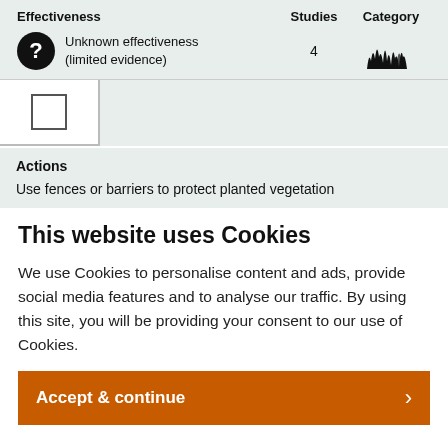Effectiveness
Studies
Category
Unknown effectiveness (limited evidence)
4
[Figure (illustration): Grassland/vegetation silhouette icon]
[Figure (other): Empty checkbox]
Actions
Use fences or barriers to protect planted vegetation
This website uses Cookies
We use Cookies to personalise content and ads, provide social media features and to analyse our traffic. By using this site, you will be providing your consent to our use of Cookies.
Accept & continue